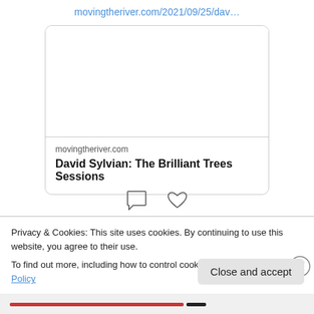movingtheriver.com/2021/09/25/dav…
[Figure (screenshot): A link preview card for movingtheriver.com showing domain name and article title 'David Sylvian: The Brilliant Trees Sessions' with a blank image area and rounded card border]
Privacy & Cookies: This site uses cookies. By continuing to use this website, you agree to their use.
To find out more, including how to control cookies, see here: Cookie Policy
Close and accept